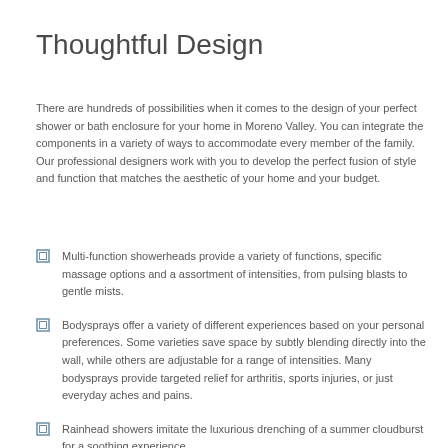Thoughtful Design
There are hundreds of possibilities when it comes to the design of your perfect shower or bath enclosure for your home in Moreno Valley. You can integrate the components in a variety of ways to accommodate every member of the family. Our professional designers work with you to develop the perfect fusion of style and function that matches the aesthetic of your home and your budget.
Multi-function showerheads provide a variety of functions, specific massage options and a assortment of intensities, from pulsing blasts to gentle mists.
Bodysprays offer a variety of different experiences based on your personal preferences. Some varieties save space by subtly blending directly into the wall, while others are adjustable for a range of intensities. Many bodysprays provide targeted relief for arthritis, sports injuries, or just everyday aches and pains.
Rainhead showers imitate the luxurious drenching of a summer cloudburst for a soothing experience.